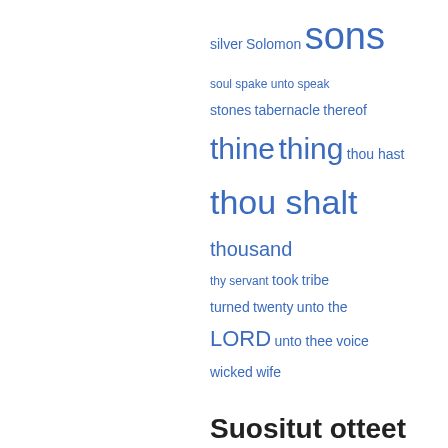silver   Solomon   sons   soul   spake unto   speak   stones   tabernacle   thereof   thine   thing   thou hast   thou shalt   thousand   thy servant   took   tribe   turned   twenty   unto the LORD   unto thee   voice   wicked   wife
Suositut otteet
Sivu 553 - Who hath measured the waters in the hollow of his hand, and meted out heaven with the span, and comprehended the dust of the earth in a measure, and weighed